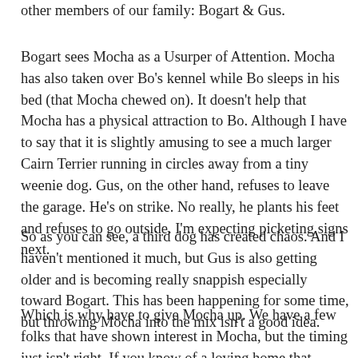other members of our family: Bogart & Gus.
Bogart sees Mocha as a Usurper of Attention. Mocha has also taken over Bo's kennel while Bo sleeps in his bed (that Mocha chewed on). It doesn't help that Mocha has a physical attraction to Bo. Although I have to say that it is slightly amusing to see a much larger Cairn Terrier running in circles away from a tiny weenie dog. Gus, on the other hand, refuses to leave the garage. He's on strike. No really, he plants his feet and refuses to go outside. I'm expecting picketing signs next.
So as you can see, a third dog has created chaos. And I haven't mentioned it much, but Gus is also getting older and is becoming really snappish especially toward Bogart. This has been happening for some time, but throwing Mocha into the mix isn't a good idea.
Which is why have to give Mocha up. We have a few folks that have shown interest in Mocha, but the timing just isn't right. If you know of a loving home that would like to add little Mocha to the family, please let me know. He really deserves